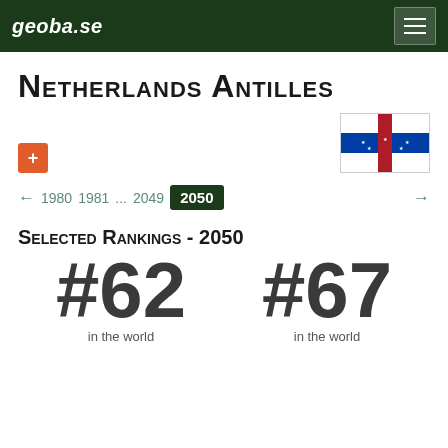geoba.se
Netherlands Antilles
[Figure (illustration): Flag of Netherlands Antilles — white background with blue horizontal stripe and red cross, five white stars in the blue area]
← 1980 1981 ... 2049 2050 →
Selected Rankings - 2050
#62 in the world
#67 in the world